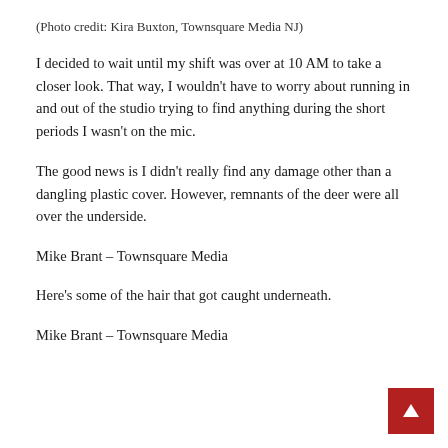(Photo credit: Kira Buxton, Townsquare Media NJ)
I decided to wait until my shift was over at 10 AM to take a closer look. That way, I wouldn't have to worry about running in and out of the studio trying to find anything during the short periods I wasn't on the mic.
The good news is I didn't really find any damage other than a dangling plastic cover. However, remnants of the deer were all over the underside.
Mike Brant – Townsquare Media
Here's some of the hair that got caught underneath.
Mike Brant – Townsquare Media